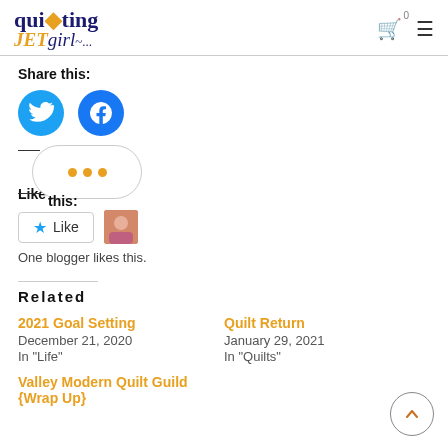quilting JETgirl
Share this:
[Figure (illustration): Twitter and Facebook social share buttons (circular blue icons), plus a popup bubble with three orange dots]
Like this:
[Figure (illustration): Like button with blue star and a small avatar thumbnail]
One blogger likes this.
Related
2021 Goal Setting
December 21, 2020
In "Life"
Quilt Return
January 29, 2021
In "Quilts"
Valley Modern Quilt Guild {Wrap Up}